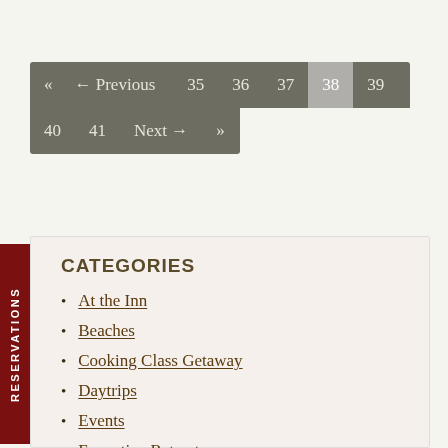« ← Previous 35 36 37 38 39 40 41 Next → »
CATEGORIES
At the Inn
Beaches
Cooking Class Getaway
Daytrips
Events
Executive Retreats